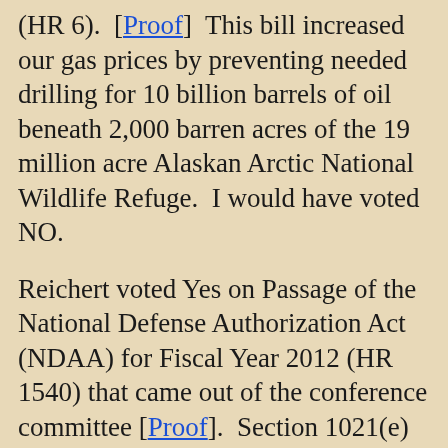(HR 6). [Proof] This bill increased our gas prices by preventing needed drilling for 10 billion barrels of oil beneath 2,000 barren acres of the 19 million acre Alaskan Arctic National Wildlife Refuge. I would have voted NO.
Reichert voted Yes on Passage of the National Defense Authorization Act (NDAA) for Fiscal Year 2012 (HR 1540) that came out of the conference committee [Proof]. Section 1021(e) of this bill was requested by Obama. It illegally gives Obama dictatorial power to use the military to indefinitely detain US citizens in the US without trial or Constitutional protection [Proof, page 265]. Senate Amendment SA